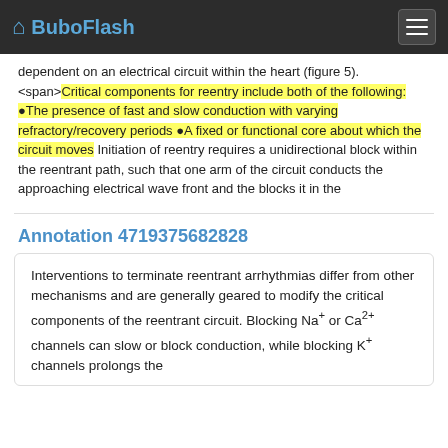BuboFlash
dependent on an electrical circuit within the heart (figure 5). <span>Critical components for reentry include both of the following: •The presence of fast and slow conduction with varying refractory/recovery periods •A fixed or functional core about which the circuit moves Initiation of reentry requires a unidirectional block within the reentrant path, such that one arm of the circuit conducts the approaching electrical wave front and the blocks it in the
Annotation 4719375682828
Interventions to terminate reentrant arrhythmias differ from other mechanisms and are generally geared to modify the critical components of the reentrant circuit. Blocking Na+ or Ca2+ channels can slow or block conduction, while blocking K+ channels prolongs the